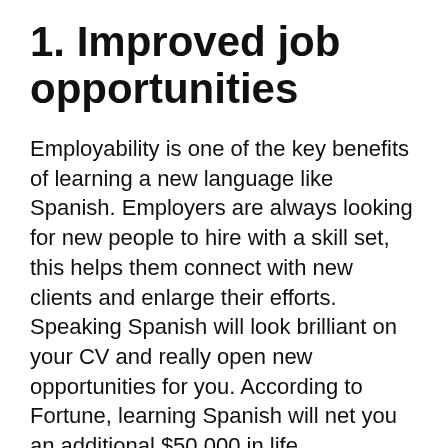1. Improved job opportunities
Employability is one of the key benefits of learning a new language like Spanish. Employers are always looking for new people to hire with a skill set, this helps them connect with new clients and enlarge their efforts. Speaking Spanish will look brilliant on your CV and really open new opportunities for you. According to Fortune, learning Spanish will net you an additional $50,000 in life.
2. Your travel experiences will be